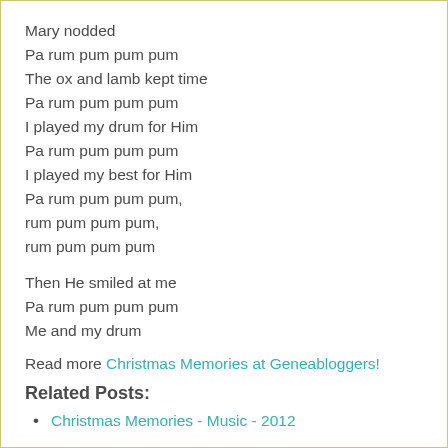Mary nodded
Pa rum pum pum pum
The ox and lamb kept time
Pa rum pum pum pum
I played my drum for Him
Pa rum pum pum pum
I played my best for Him
Pa rum pum pum pum,
rum pum pum pum,
rum pum pum pum
Then He smiled at me
Pa rum pum pum pum
Me and my drum
Read more Christmas Memories at Geneabloggers!
Related Posts:
Christmas Memories - Music - 2012